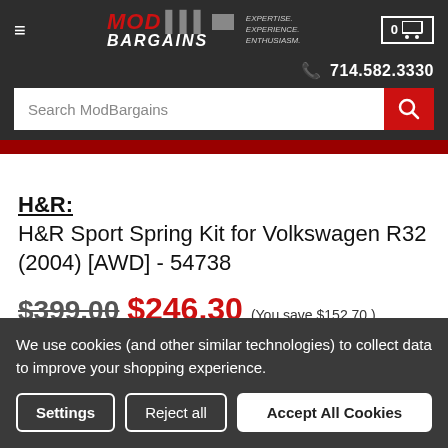MOD BARGAINS — EXPERTISE. EXPERIENCE. ENTHUSIASM. | 714.582.3330
Search ModBargains
H&R:
H&R Sport Spring Kit for Volkswagen R32 (2004) [AWD] - 54738
$399.00  $246.30  (You save $152.70 )
(No reviews yet)
We use cookies (and other similar technologies) to collect data to improve your shopping experience.
Settings  Reject all  Accept All Cookies